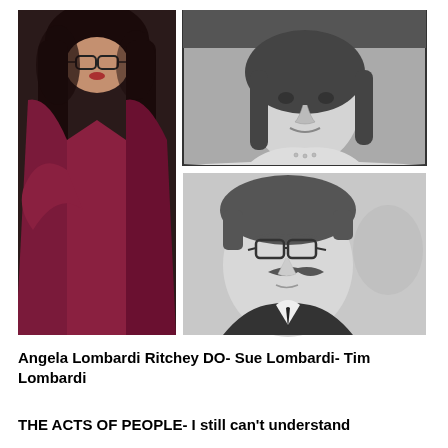[Figure (photo): Three photos: left - a woman in dark hair and burgundy/maroon jacket posing dramatically; top right - black and white photo of a woman with shoulder-length dark hair smiling; bottom right - black and white photo of a man with glasses and mustache in a suit]
Angela Lombardi Ritchey DO- Sue Lombardi- Tim Lombardi
THE ACTS OF PEOPLE- I still can't understand